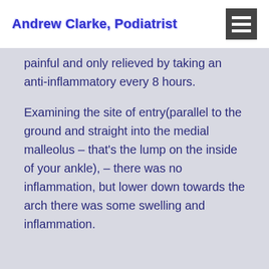Andrew Clarke, Podiatrist
painful and only relieved by taking an anti-inflammatory every 8 hours.
Examining the site of entry(parallel to the ground and straight into the medial malleolus – that's the lump on the inside of your ankle), – there was no inflammation, but lower down towards the arch there was some swelling and inflammation.